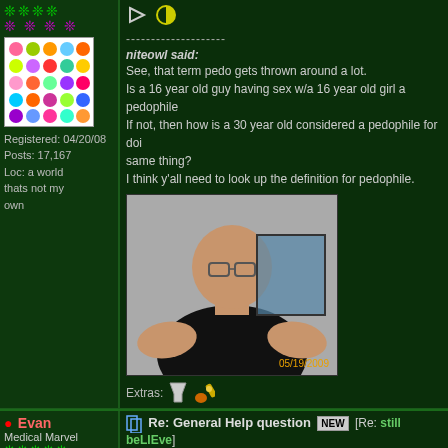[Figure (screenshot): Forum post showing colorful polka dot avatar, user stars, and profile info. Right side shows a quoted message from niteowl and a photo of a bald man with glasses wearing a black tank top, timestamp 05/19/2009.]
Registered: 04/20/08
Posts: 17,167
Loc: a world thats not my own
--------------------
niteowl said:
See, that term pedo gets thrown around a lot.
Is a 16 year old guy having sex w/a 16 year old girl a pedophile?
If not, then how is a 30 year old considered a pedophile for doing the same thing?
I think y'all need to look up the definition for pedophile.
Extras:
● Evan
Medical Marvel
Re: General Help question [NEW] [Re: still beLIEve]
#33850 - 05/19/08 03:14 PM (14 years, 3 months ago)